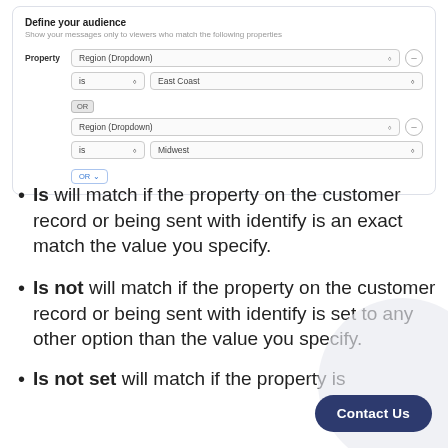[Figure (screenshot): UI panel showing 'Define your audience' with dropdown filters for Region property set to 'East Coast' and 'Midwest' connected by OR logic, and an OR button at the bottom.]
Is will match if the property on the customer record or being sent with identify is an exact match the value you specify.
Is not will match if the property on the customer record or being sent with identify is set to any other option than the value you specify.
Is not set will match if the property is...